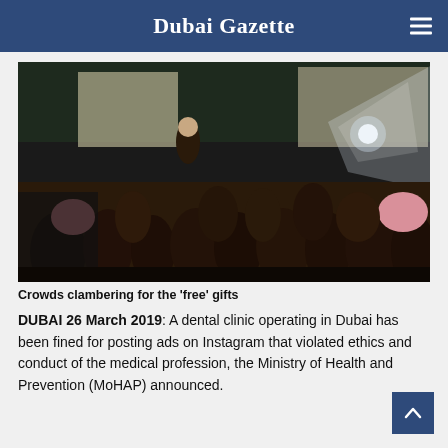Dubai Gazette
[Figure (photo): A nighttime crowd scene showing many people clambering and pressing together, some on top of a wall or vehicle, with a bright spotlight beam cutting through the darkness. People are wearing various clothing including pink head coverings and traditional dress.]
Crowds clambering for the 'free' gifts
DUBAI 26 March 2019: A dental clinic operating in Dubai has been fined for posting ads on Instagram that violated ethics and conduct of the medical profession, the Ministry of Health and Prevention (MoHAP) announced.